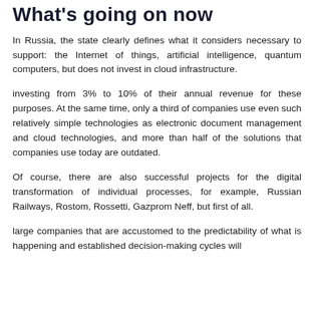What's going on now
In Russia, the state clearly defines what it considers necessary to support: the Internet of things, artificial intelligence, quantum computers, but does not invest in cloud infrastructure.
investing from 3% to 10% of their annual revenue for these purposes. At the same time, only a third of companies use even such relatively simple technologies as electronic document management and cloud technologies, and more than half of the solutions that companies use today are outdated.
Of course, there are also successful projects for the digital transformation of individual processes, for example, Russian Railways, Rostom, Rossetti, Gazprom Neff, but first of all.
large companies that are accustomed to the predictability of what is happening and established decision-making cycles will